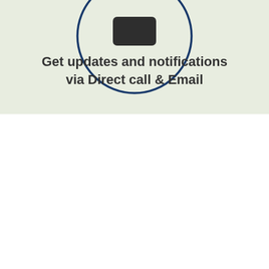[Figure (illustration): A dark rounded-rectangle icon representing a phone/device, centered inside a large dark-blue circle outline, placed on a light green background.]
Get updates and notifications via Direct call & Email